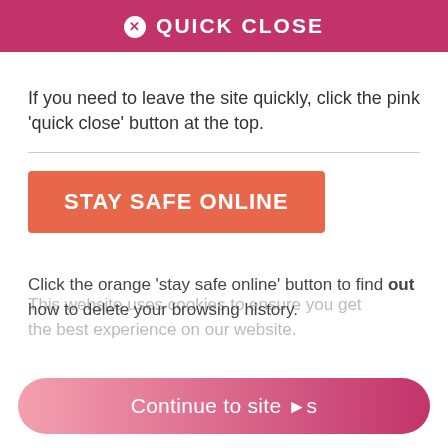✕ QUICK CLOSE
If you need to leave the site quickly, click the pink 'quick close' button at the top.
[Figure (other): Orange button labeled STAY SAFE ONLINE]
Click the orange 'stay safe online' button to find out how to delete your browsing history.
This website uses cookies to ensure you get the best experience on our website.
Learn more
[Figure (other): Pink gradient pill-shaped button labeled 'Continue to site >']